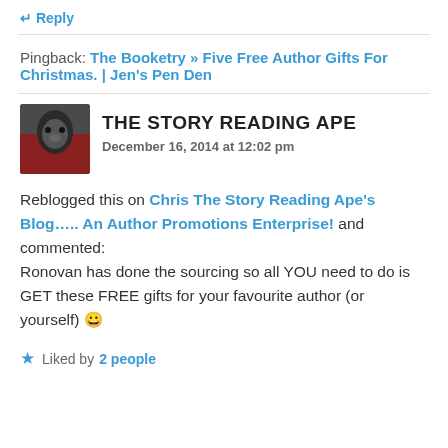↵ Reply
Pingback: The Booketry » Five Free Author Gifts For Christmas. | Jen's Pen Den
THE STORY READING APE
December 16, 2014 at 12:02 pm
Reblogged this on Chris The Story Reading Ape's Blog..... An Author Promotions Enterprise! and commented: Ronovan has done the sourcing so all YOU need to do is GET these FREE gifts for your favourite author (or yourself) 😀
Liked by 2 people